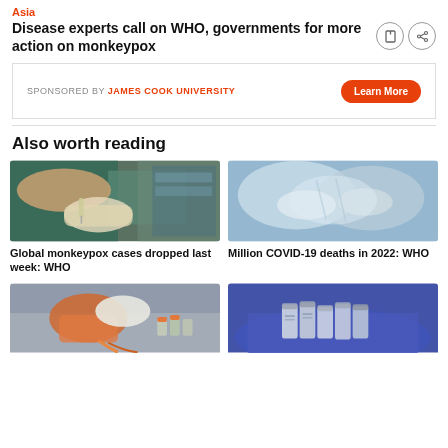Asia
Disease experts call on WHO, governments for more action on monkeypox
SPONSORED BY JAMES COOK UNIVERSITY  Learn More
Also worth reading
[Figure (photo): Gloved hands injecting a vaccine into a person's arm in a medical setting]
Global monkeypox cases dropped last week: WHO
[Figure (photo): Hands in blue PPE gown/gloves tying or handling medical protective equipment]
Million COVID-19 deaths in 2022: WHO
[Figure (photo): Medical equipment including IV bags, tubes, and orange safety caps on a surface]
[Figure (photo): Person in blue top holding multiple small medical vials/vaccine bottles]